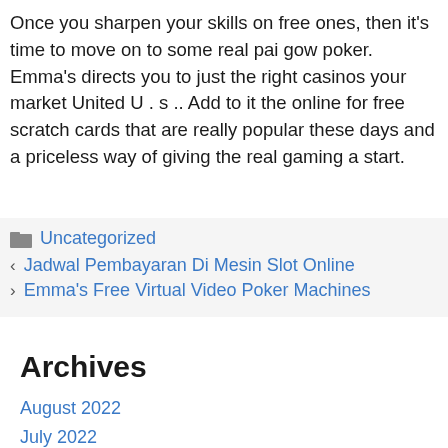Once you sharpen your skills on free ones, then it’s time to move on to some real pai gow poker. Emma’s directs you to just the right casinos your market United U . s .. Add to it the online for free scratch cards that are really popular these days and a priceless way of giving the real gaming a start.
Uncategorized
Jadwal Pembayaran Di Mesin Slot Online
Emma’s Free Virtual Video Poker Machines
Archives
August 2022
July 2022